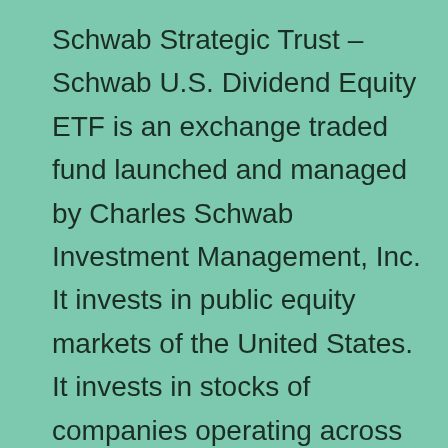Schwab Strategic Trust – Schwab U.S. Dividend Equity ETF is an exchange traded fund launched and managed by Charles Schwab Investment Management, Inc. It invests in public equity markets of the United States. It invests in stocks of companies operating across energy, materials, industrials, consumer discretionary, consumer staples, health care, financials, information technology, communication services, utilities sectors. It invests in growth and value stocks of companies across diversified market capitalization. It invests in dividend paying stocks of companies. It seeks to track the performance of the Dow Jones U.S. Dividend 100 Index, by using full replication technique. Schwab Strategic Trust – Schwab U.S. Dividend Equity ETF was formed on